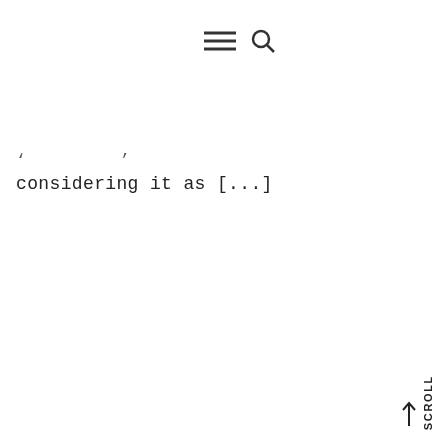≡ 🔍
considering it as [...]
SCROLL ↑